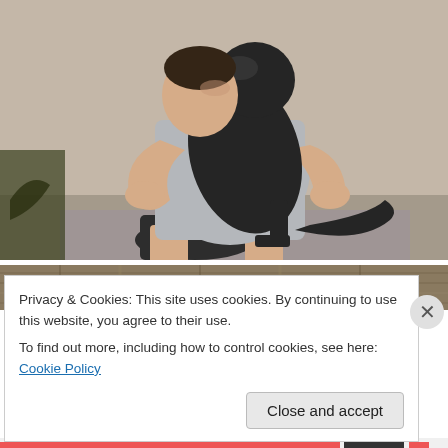[Figure (photo): A man in a grey t-shirt and black shorts sitting on a concrete step, hugging and nuzzling a black dog against a light grey concrete wall background.]
[Figure (photo): Partial view of a second photo below, showing a textured brown/gold surface, mostly obscured by the cookie banner overlay.]
Privacy & Cookies: This site uses cookies. By continuing to use this website, you agree to their use.
To find out more, including how to control cookies, see here: Cookie Policy
Close and accept